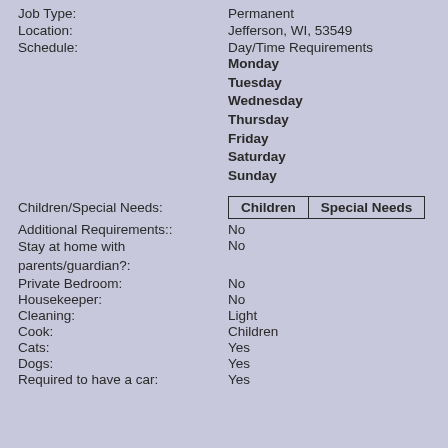Job Type: Permanent
Location: Jefferson, WI, 53549
Schedule: Day/Time Requirements
Monday
Tuesday
Wednesday
Thursday
Friday
Saturday
Sunday
| Children | Special Needs |
| --- | --- |
Additional Requirements:: No
Stay at home with parents/guardian?: No
Private Bedroom: No
Housekeeper: No
Cleaning: Light
Cook: Children
Cats: Yes
Dogs: Yes
Required to have a car: Yes